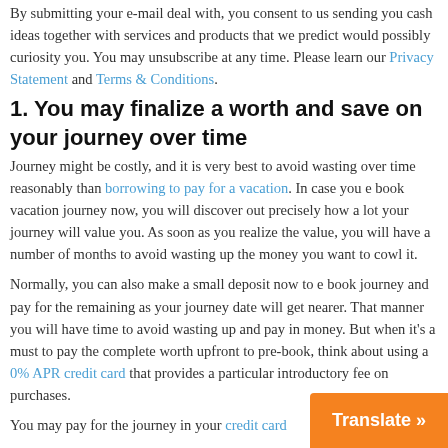By submitting your e-mail deal with, you consent to us sending you cash ideas together with services and products that we predict would possibly curiosity you. You may unsubscribe at any time. Please learn our Privacy Statement and Terms & Conditions.
1. You may finalize a worth and save on your journey over time
Journey might be costly, and it is very best to avoid wasting over time reasonably than borrowing to pay for a vacation. In case you e book vacation journey now, you will discover out precisely how a lot your journey will value you. As soon as you realize the value, you will have a number of months to avoid wasting up the money you want to cowl it.
Normally, you can also make a small deposit now to e book journey and pay for the remaining as your journey date will get nearer. That manner you will have time to avoid wasting up and pay in money. But when it's a must to pay the complete worth upfront to pre-book, think about using a 0% APR credit card that provides a particular introductory fee on purchases.
You may pay for the journey in your credit card